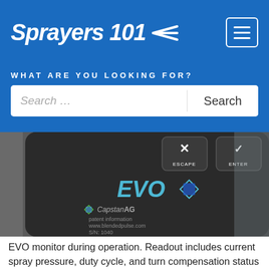Sprayers 101
WHAT ARE YOU LOOKING FOR?
[Figure (photo): Close-up photo of an EVO monitor device by CapstanAG showing ESCAPE and ENTER buttons, EVO logo, CapstanAG branding, patent information www.blendedpulse.com, and S/N: 1040]
EVO monitor during operation. Readout includes current spray pressure, duty cycle, and turn compensation status